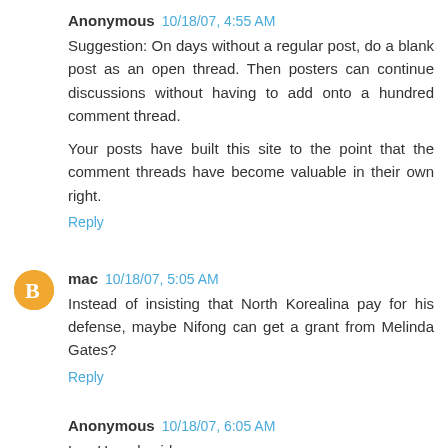Anonymous 10/18/07, 4:55 AM
Suggestion: On days without a regular post, do a blank post as an open thread. Then posters can continue discussions without having to add onto a hundred comment thread.
Your posts have built this site to the point that the comment threads have become valuable in their own right.
Reply
mac 10/18/07, 5:05 AM
Instead of insisting that North Korealina pay for his defense, maybe Nifong can get a grant from Melinda Gates?
Reply
Anonymous 10/18/07, 6:05 AM
Lee Hamel said: